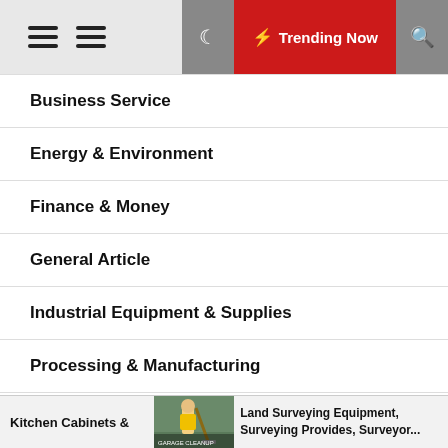Trending Now
Business Service
Energy & Environment
Finance & Money
General Article
Industrial Equipment & Supplies
Processing & Manufacturing
Removal Services
Kitchen Cabinets & | Land Surveying Equipment, Surveying Provides, Surveyor...